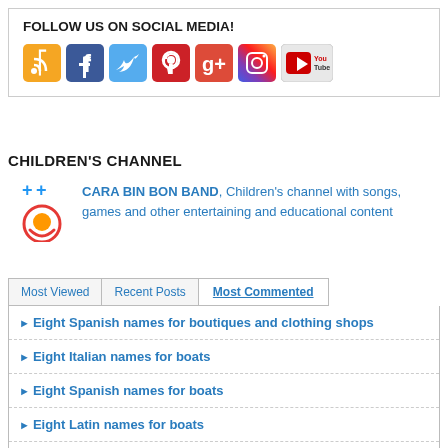FOLLOW US ON SOCIAL MEDIA!
[Figure (infographic): Row of social media icons: RSS (orange), Facebook (blue), Twitter (light blue), Pinterest (red), Google+ (red), Instagram (purple gradient), YouTube (red/white)]
CHILDREN'S CHANNEL
[Figure (logo): Cara Bin Bon Band logo: smiley face with two plus signs above, red smile, orange circle]
CARA BIN BON BAND, Children's channel with songs, games and other entertaining and educational content
Most Viewed
Recent Posts
Most Commented
Eight Spanish names for boutiques and clothing shops
Eight Italian names for boats
Eight Spanish names for boats
Eight Latin names for boats
Biblical names for boats